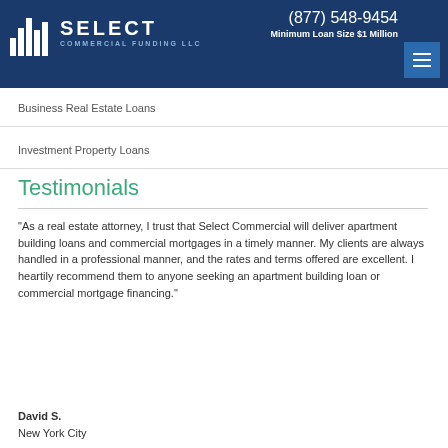Select Commercial Funding LLC | (877) 548-9454 | Minimum Loan Size $1 Million
Business Real Estate Loans
Investment Property Loans
Testimonials
"As a real estate attorney, I trust that Select Commercial will deliver apartment building loans and commercial mortgages in a timely manner. My clients are always handled in a professional manner, and the rates and terms offered are excellent. I heartily recommend them to anyone seeking an apartment building loan or commercial mortgage financing."
David S.
New York City